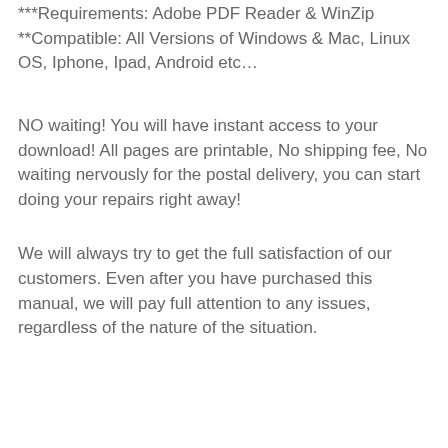***Requirements: Adobe PDF Reader & WinZip
**Compatible: All Versions of Windows & Mac, Linux OS, Iphone, Ipad, Android etc…
NO waiting! You will have instant access to your download! All pages are printable, No shipping fee, No waiting nervously for the postal delivery, you can start doing your repairs right away!
We will always try to get the full satisfaction of our customers. Even after you have purchased this manual, we will pay full attention to any issues, regardless of the nature of the situation.